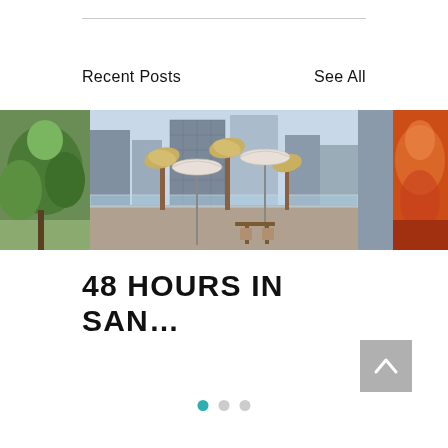Recent Posts
See All
[Figure (photo): A strip of three photos: left shows green foliage/park, center shows a rooftop terrace with white umbrellas, palm trees, and city skyscrapers in the background, right shows warm orange/red ambient lighting at an event or restaurant.]
48 HOURS IN SAN…